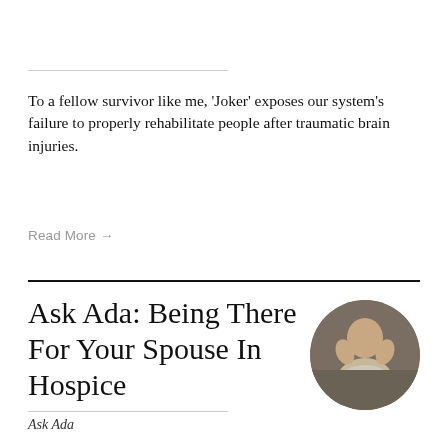To a fellow survivor like me, 'Joker' exposes our system's failure to properly rehabilitate people after traumatic brain injuries.
Read More →
Ask Ada: Being There For Your Spouse In Hospice
Ask Ada
[Figure (photo): Circular thumbnail photo of a person, appearing distressed, with hands raised near face, against a muted background]